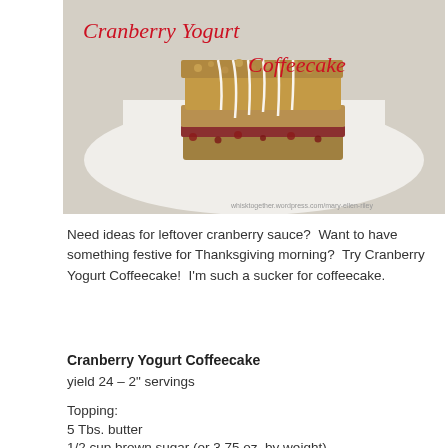[Figure (photo): Photo of a slice of Cranberry Yogurt Coffeecake on a white plate with white glaze drizzled on top, with the title 'Cranberry Yogurt Coffeecake' written in red cursive over the image, and the URL whisktogether.wordpress.com/mary-ellen-riley at the bottom.]
Need ideas for leftover cranberry sauce?  Want to have something festive for Thanksgiving morning?  Try Cranberry Yogurt Coffeecake!  I'm such a sucker for coffeecake.
Cranberry Yogurt Coffeecake
yield 24 – 2" servings
Topping:
5 Tbs. butter
1/2 cup brown sugar (or 3.75 oz. by weight)